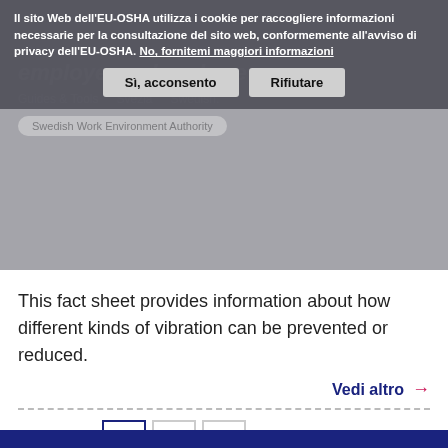Il sito Web dell'EU-OSHA utilizza i cookie per raccogliere informazioni necessarie per la consultazione del sito web, conformemente all'avviso di privacy dell'EU-OSHA. No, fornitemi maggiori informazioni
Sì, acconsento | Rifiutare
This fact sheet provides information about how different kinds of vibration can be prevented or reduced.
Vedi altro →
1  2  3  ›  »